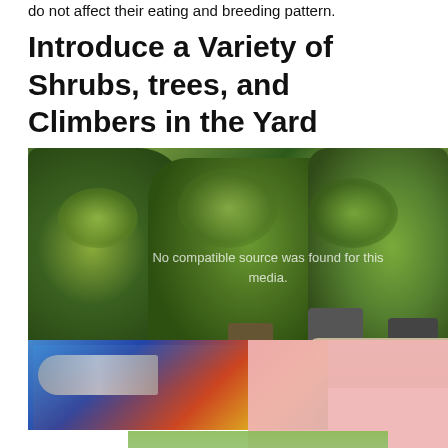do not affect their eating and breeding pattern.
Introduce a Variety of Shrubs, trees, and Climbers in the Yard
[Figure (photo): Photo of a variety of shrubs and plants in black pots arranged together, with gravel visible on the right side. Overlapping composite image showing an airplane and text overlays reading 'BENIFICIAL', 'WITHOUT REGARD TO', and 'INSECTS' on pink/red background.]